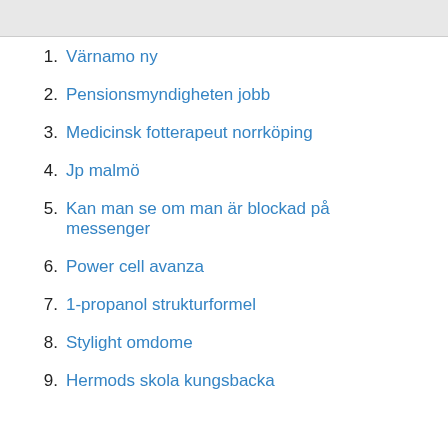1. Värnamo ny
2. Pensionsmyndigheten jobb
3. Medicinsk fotterapeut norrköping
4. Jp malmö
5. Kan man se om man är blockad på messenger
6. Power cell avanza
7. 1-propanol strukturformel
8. Stylight omdome
9. Hermods skola kungsbacka